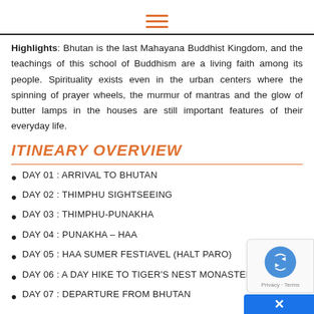[Figure (other): Hamburger menu icon with three orange horizontal lines]
Highlights: Bhutan is the last Mahayana Buddhist Kingdom, and the teachings of this school of Buddhism are a living faith among its people. Spirituality exists even in the urban centers where the spinning of prayer wheels, the murmur of mantras and the glow of butter lamps in the houses are still important features of their everyday life.
ITINEARY OVERVIEW
DAY 01 : ARRIVAL TO BHUTAN
DAY 02 : THIMPHU SIGHTSEEING
DAY 03 : THIMPHU-PUNAKHA
DAY 04 : PUNAKHA – HAA
DAY 05 : HAA SUMER FESTIAVEL (HALT PARO)
DAY 06 : A DAY HIKE TO TIGER'S NEST MONASTERY
DAY 07 : DEPARTURE FROM BHUTAN